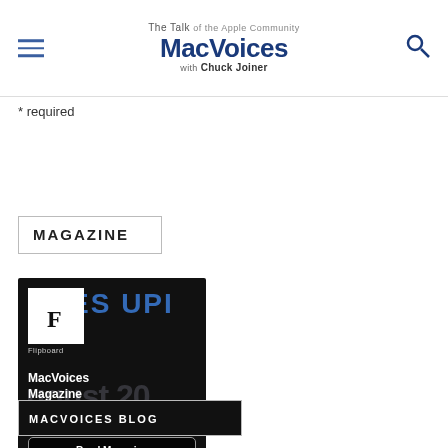The Talk of the Apple Community MacVoices with Chuck Joiner
* required
MAGAZINE
[Figure (illustration): Flipboard-style magazine card for MacVoices Magazine by Chuck Joiner, August 2020+, with a Read Magazine button. Dark background with Flipboard logo icon, blue text overlay, and white magazine title text.]
MACVOICES BLOG